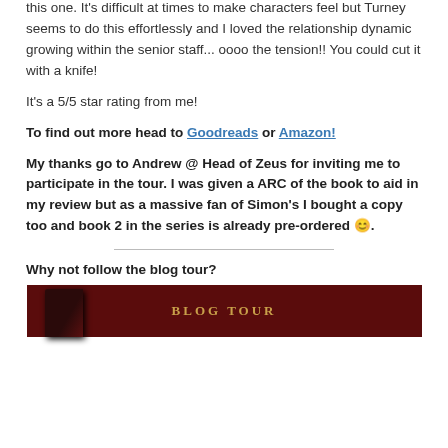this one. It's difficult at times to make characters feel but Turney seems to do this effortlessly and I loved the relationship dynamic growing within the senior staff... oooo the tension!! You could cut it with a knife!
It's a 5/5 star rating from me!
To find out more head to Goodreads or Amazon!
My thanks go to Andrew @ Head of Zeus for inviting me to participate in the tour. I was given a ARC of the book to aid in my review but as a massive fan of Simon's I bought a copy too and book 2 in the series is already pre-ordered 😊.
Why not follow the blog tour?
[Figure (other): Blog tour banner with dark red background and gold 'BLOG TOUR' text]